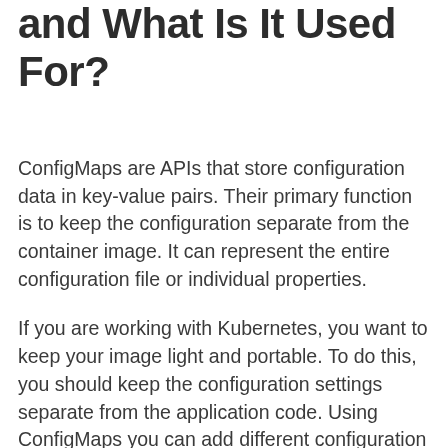and What Is It Used For?
ConfigMaps are APIs that store configuration data in key-value pairs. Their primary function is to keep the configuration separate from the container image. It can represent the entire configuration file or individual properties.
If you are working with Kubernetes, you want to keep your image light and portable. To do this, you should keep the configuration settings separate from the application code. Using ConfigMaps you can add different configuration data on pods to suit the environment they are running in.
For example, you may use the same code with different configuration while in the development, testing or production phase.